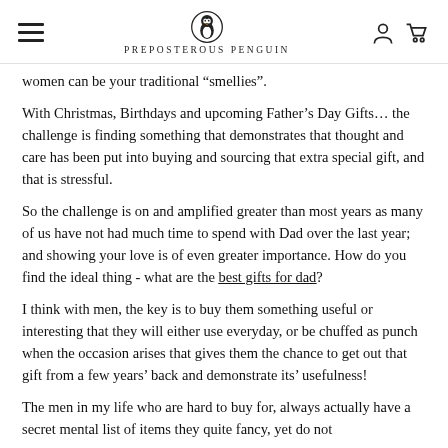Preposterous Penguin
women can be your traditional “smellies”.
With Christmas, Birthdays and upcoming Father’s Day Gifts… the challenge is finding something that demonstrates that thought and care has been put into buying and sourcing that extra special gift, and that is stressful.
So the challenge is on and amplified greater than most years as many of us have not had much time to spend with Dad over the last year; and showing your love is of even greater importance. How do you find the ideal thing - what are the best gifts for dad?
I think with men, the key is to buy them something useful or interesting that they will either use everyday, or be chuffed as punch when the occasion arises that gives them the chance to get out that gift from a few years’ back and demonstrate its’ usefulness!
The men in my life who are hard to buy for, always actually have a secret mental list of items they quite fancy, yet do not